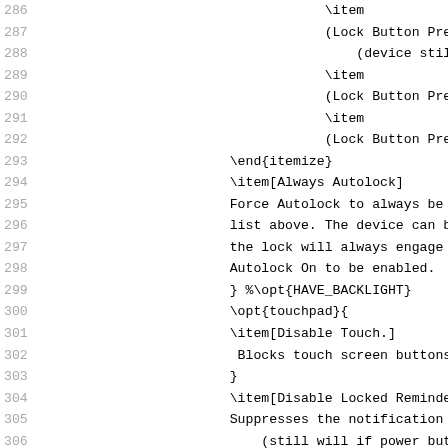Code listing lines 286-315 showing LaTeX source with line numbers. Content includes \item, (Lock Button Pressed..., \end{itemize}, \item[Always Autolock], Force Autolock text, \opt{touchpad}{, \item[Disable Touch.], \item[Disable Locked Reminders], \note{...}, \reference{...}, \item[Disable All Lock Notifications], and related LaTeX markup.